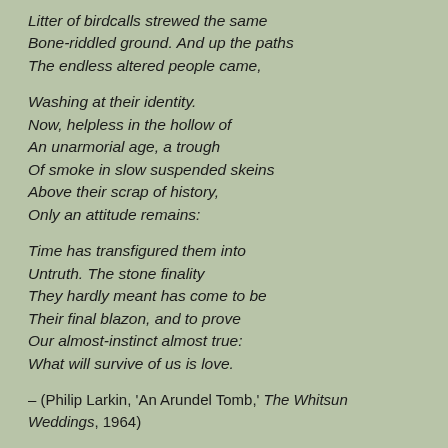Litter of birdcalls strewed the same
Bone-riddled ground. And up the paths
The endless altered people came,
Washing at their identity.
Now, helpless in the hollow of
An unarmorial age, a trough
Of smoke in slow suspended skeins
Above their scrap of history,
Only an attitude remains:
Time has transfigured them into
Untruth. The stone finality
They hardly meant has come to be
Their final blazon, and to prove
Our almost-instinct almost true:
What will survive of us is love.
– (Philip Larkin, 'An Arundel Tomb,' The Whitsun Weddings, 1964)
Of course, Philip Larkin and his family lived for some time in